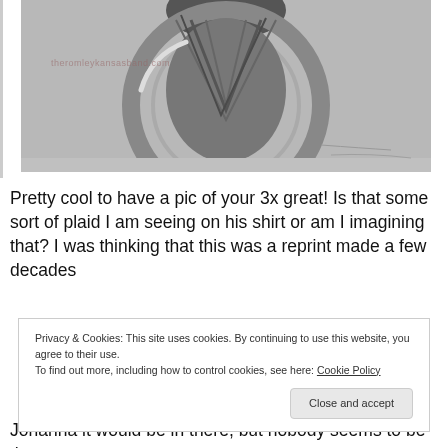[Figure (photo): Black and white historical photograph showing a circular/wheel shape, likely a wagon wheel or similar circular object. A watermark reading 'theromleykansasband.com' is visible on the photo.]
Pretty cool to have a pic of your 3x great! Is that some sort of plaid I am seeing on his shirt or am I imagining that? I was thinking that this was a reprint made a few decades
Privacy & Cookies: This site uses cookies. By continuing to use this website, you agree to their use.
To find out more, including how to control cookies, see here: Cookie Policy
Johanna it would be in there, but nobody seems to be the